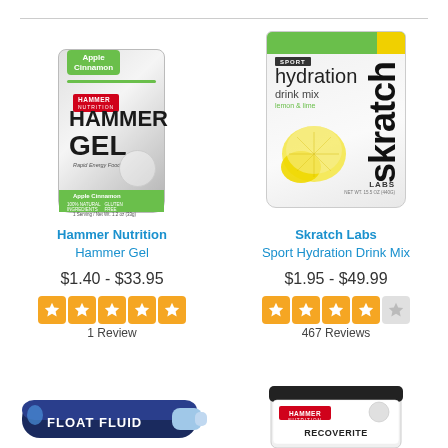[Figure (photo): Hammer Nutrition Hammer Gel packet, Apple Cinnamon flavor, silver and green packaging]
Hammer Nutrition
Hammer Gel
$1.40 - $33.95
[Figure (other): 5 orange star rating icons]
1 Review
[Figure (photo): Skratch Labs Sport Hydration Drink Mix packet, Lemon & Lime flavor, white and green packaging]
Skratch Labs
Sport Hydration Drink Mix
$1.95 - $49.99
[Figure (other): 4.5 orange star rating icons out of 5]
467 Reviews
[Figure (photo): Partial view of a blue gel tube labeled FLOAT FLUID at the bottom of the page]
[Figure (photo): Partial view of a Hammer Nutrition Recoverite white jar at the bottom of the page]